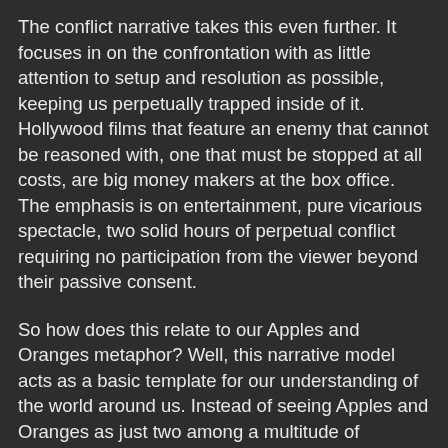The conflict narrative takes this even further. It focuses in on the confrontation with as little attention to setup and resolution as possible, keeping us perpetually trapped inside of it. Hollywood films that feature an enemy that cannot be reasoned with, one that must be stopped at all costs, are big money makers at the box office. The emphasis is on entertainment, pure vicarious spectacle, two solid hours of perpetual conflict requiring no participation from the viewer beyond their passive consent.
So how does this relate to our Apples and Oranges metaphor? Well, this narrative model acts as a basic template for our understanding of the world around us. Instead of seeing Apples and Oranges as just two among a multitude of possibilities, we are likely to insert them into the roles of protagonist and antagonist, our champion and his foe, reflexively imposing a hierarchy on the fruits, making value judgements that set them in opposition to one another. Rather than simply enjoying both fruits, we insist on defining them through their differences relative to one another. We are so culturally conditioned to perceive any pairing as a